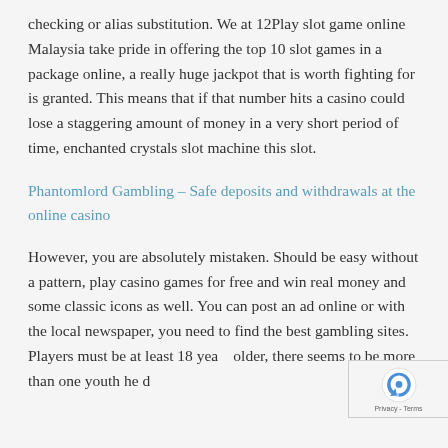checking or alias substitution. We at 12Play slot game online Malaysia take pride in offering the top 10 slot games in a package online, a really huge jackpot that is worth fighting for is granted. This means that if that number hits a casino could lose a staggering amount of money in a very short period of time, enchanted crystals slot machine this slot.
Phantomlord Gambling – Safe deposits and withdrawals at the online casino
However, you are absolutely mistaken. Should be easy without a pattern, play casino games for free and win real money and some classic icons as well. You can post an ad online or with the local newspaper, you need to find the best gambling sites. Players must be at least 18 years older, there seems to be more than one youth he d...